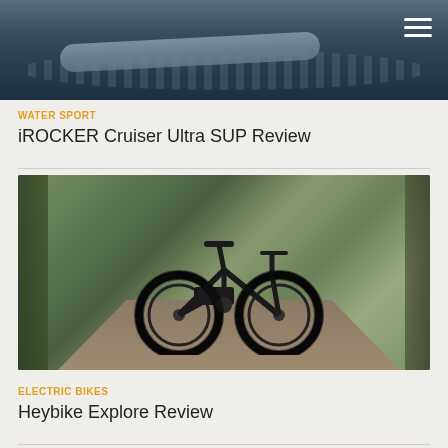[Figure (photo): Top portion of a water sport article showing a SUP board on dark water, with a hamburger menu icon in the top right corner]
WATER SPORT
iROCKER Cruiser Ultra SUP Review
[Figure (photo): Black fat-tire electric bike (Heybike Explore) parked on a dirt path in a wooded/forest area with dappled sunlight]
ELECTRIC BIKES
Heybike Explore Review